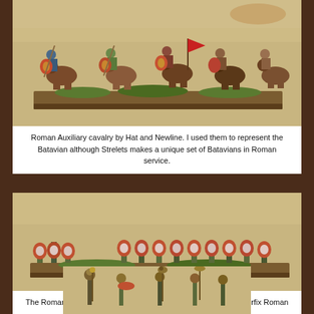[Figure (photo): Painted miniature Roman Auxiliary cavalry figures by Hat and Newline on a wargaming table with sandy terrain. Cavalry soldiers on horseback carrying spears and round shields, arranged in a line on a wooden base.]
Roman Auxiliary cavalry by Hat and Newline. I used them to represent the Batavian although Strelets makes a unique set of Batavians in Roman service.
[Figure (photo): Painted miniature Roman Auxilia infantry figures by Hat and one element of old Airfix Roman archers on a wargaming table. Infantry with round shields arranged in a line on a wooden base with sandy terrain.]
The Roman right. Hat Roman Auxlia and one element of the old Airfix Roman archers.
[Figure (photo): Painted miniature Roman figures partially visible at the bottom of the page, showing various standard bearers and soldiers on a sandy terrain base.]